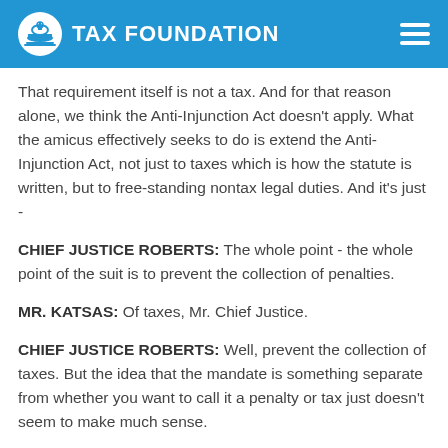TAX FOUNDATION
That requirement itself is not a tax. And for that reason alone, we think the Anti-Injunction Act doesn't apply. What the amicus effectively seeks to do is extend the Anti-Injunction Act, not just to taxes which is how the statute is written, but to free-standing nontax legal duties. And it's just -
CHIEF JUSTICE ROBERTS: The whole point - the whole point of the suit is to prevent the collection of penalties.
MR. KATSAS: Of taxes, Mr. Chief Justice.
CHIEF JUSTICE ROBERTS: Well, prevent the collection of taxes. But the idea that the mandate is something separate from whether you want to call it a penalty or tax just doesn't seem to make much sense.